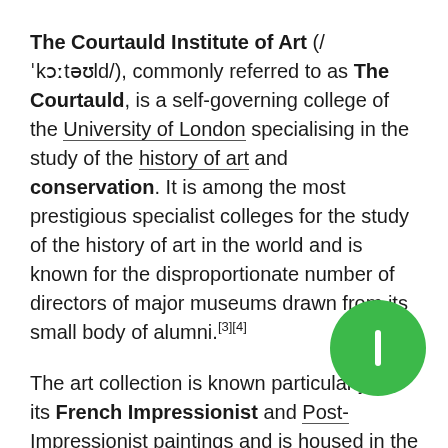The Courtauld Institute of Art (/ˈkɔːtəʊld/), commonly referred to as The Courtauld, is a self-governing college of the University of London specialising in the study of the history of art and conservation. It is among the most prestigious specialist colleges for the study of the history of art in the world and is known for the disproportionate number of directors of major museums drawn from its small body of alumni.[3][4]
The art collection is known particularly for its French Impressionist and Post-Impressionist paintings and is housed in the Courtauld Gallery. The Courtauld is based in Somerset House, in the Strand in London. In 2019, The Courtauld's teaching and research activities temporarily relocated to Vernon Square, London, while its Somerset House site underwent a major regeneration project.